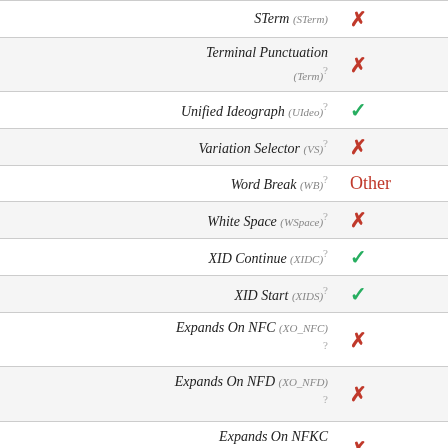| Property | Value |
| --- | --- |
| STerm (STerm) | ✗ |
| Terminal Punctuation (Term) | ✗ |
| Unified Ideograph (UIdeo) | ✓ |
| Variation Selector (VS) | ✗ |
| Word Break (WB) | Other |
| White Space (WSpace) | ✗ |
| XID Continue (XIDC) | ✓ |
| XID Start (XIDS) | ✓ |
| Expands On NFC (XO_NFC) | ✗ |
| Expands On NFD (XO_NFD) | ✗ |
| Expands On NFKC (XO_NFKC) | ✗ |
| Expands On NFKD (XO_NFKD) | ✗ |